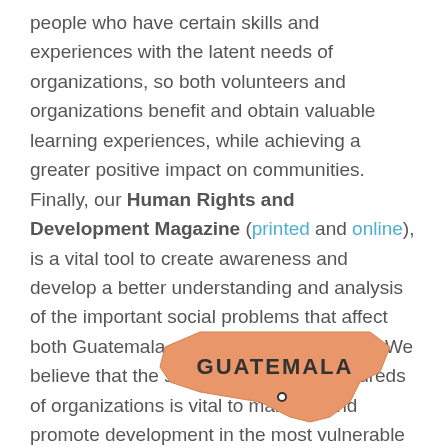people who have certain skills and experiences with the latent needs of organizations, so both volunteers and organizations benefit and obtain valuable learning experiences, while achieving a greater positive impact on communities. Finally, our Human Rights and Development Magazine (printed and online), is a vital tool to create awareness and develop a better understanding and analysis of the important social problems that affect both Guatemala and the rest of the world. We believe that the support we offer to hundreds of organizations is vital to maintain and promote development in the most vulnerable communities of Guatemala, so we are passionate about continuing to do the work we have been doing since 2001.
[Figure (map): Partial map showing Guatemala highlighted in orange/salmon color with the label GUATEMALA and a small location marker pin]